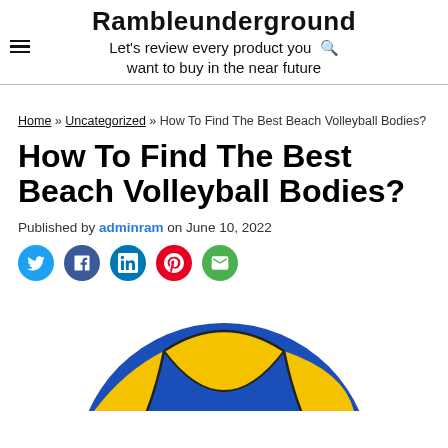Rambleunderground
Let's review every product you want to buy in the near future
Home » Uncategorized » How To Find The Best Beach Volleyball Bodies?
How To Find The Best Beach Volleyball Bodies?
Published by adminram on June 10, 2022
[Figure (other): Social share icons: Twitter, Facebook, LinkedIn, Pinterest, Email]
[Figure (photo): Partial image of a blue and yellow beach volleyball ball]